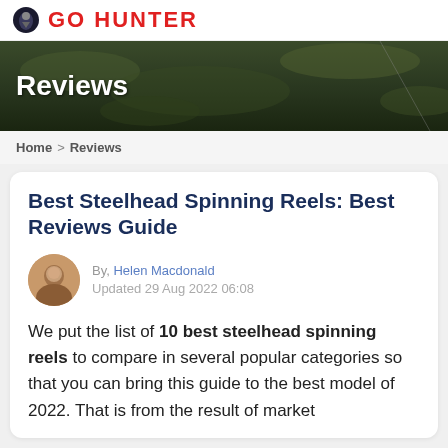GO HUNTER
[Figure (photo): Dark nature/fishing background hero banner with 'Reviews' title overlay in white]
Reviews
Home > Reviews
Best Steelhead Spinning Reels: Best Reviews Guide
By, Helen Macdonald
Updated 29 Aug 2022 06:08
We put the list of 10 best steelhead spinning reels to compare in several popular categories so that you can bring this guide to the best model of 2022. That is from the result of market